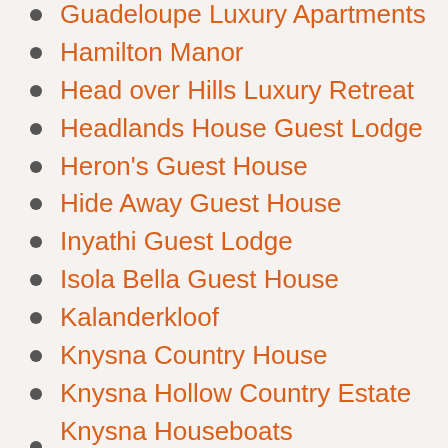Guadeloupe Luxury Apartments
Hamilton Manor
Head over Hills Luxury Retreat
Headlands House Guest Lodge
Heron's Guest House
Hide Away Guest House
Inyathi Guest Lodge
Isola Bella Guest House
Kalanderkloof
Knysna Country House
Knysna Hollow Country Estate
Knysna Houseboats Accommodation
Knysna Inn Boutique Hotel